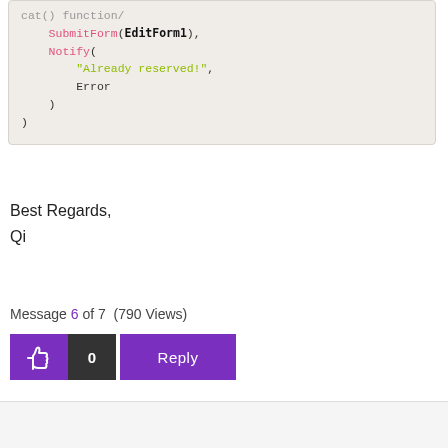[Figure (screenshot): Code block showing PowerApps formula with SubmitForm(EditForm1), Notify("Already reserved!", Error) inside a function body, with syntax highlighting: pink for function names, green for string literals, bold for identifiers.]
Best Regards,
Qi
Message 6 of 7 (790 Views)
[Figure (other): Thumbs up like button (purple), count of 0 (dark), and Reply button (purple)]